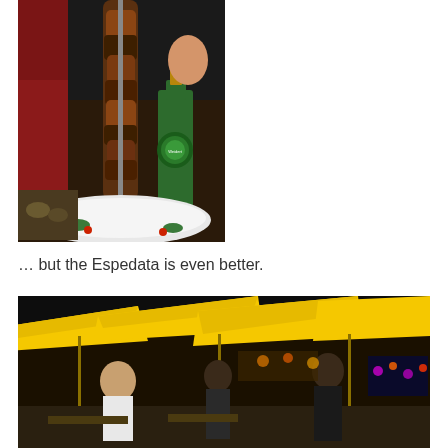[Figure (photo): Close-up photo of a large skewer of grilled/roasted meat (espedata/espetada) on a metal skewer over a white plate, with a green beer bottle (Weidert) visible in the background and a person in red shirt behind]
… but the Espedata is even better.
[Figure (photo): Night-time outdoor dining scene with large yellow umbrellas/parasols covering tables, people walking around, colorful lights in background]